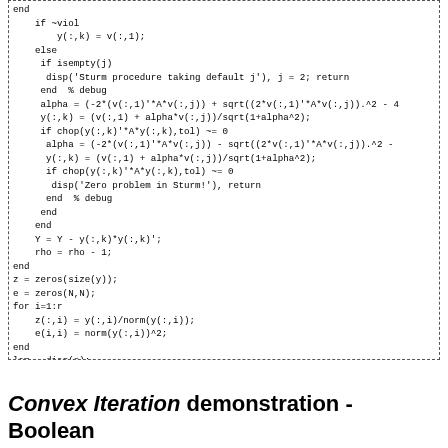[Figure (screenshot): Code listing showing MATLAB/Octave code for a Sturm procedure and eigenvalue decomposition with convex iteration]
Convex Iteration demonstration - Boolean